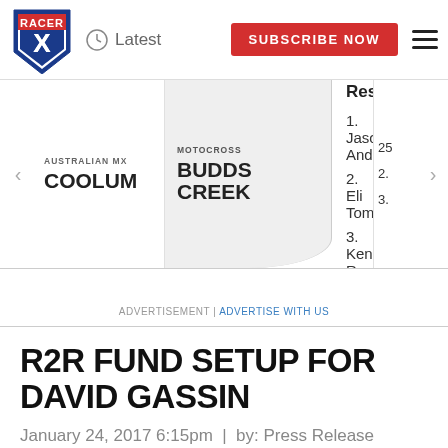Latest | SUBSCRIBE NOW
[Figure (screenshot): Racer X shield logo in top left of navigation bar]
AUSTRALIAN MX COOLUM | MOTOCROSS BUDDS CREEK | 450 Results: 1. Jason Anderson, 2. Eli Tomac, 3. Ken Roczen
ADVERTISEMENT | ADVERTISE WITH US
R2R FUND SETUP FOR DAVID GASSIN
January 24, 2017 6:15pm | by: Press Release